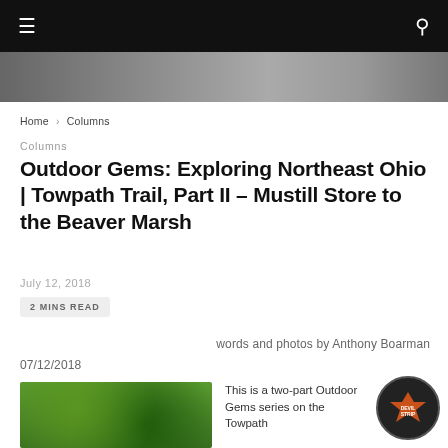☰  🔍
[Figure (photo): Outdoor nature/trail scene, dark stones and foliage at top of page]
Home › Columns
Columns
Outdoor Gems: Exploring Northeast Ohio | Towpath Trail, Part II – Mustill Store to the Beaver Marsh
July 12, 2018
2 MINS READ
words and photos by Anthony Boarman
07/12/2018
[Figure (photo): Green forested trail with dense foliage]
This is a two-part Outdoor Gems series on the Towpath
[Figure (logo): Devil Strip circular logo badge]